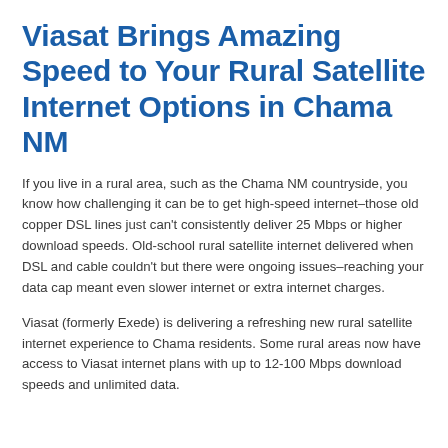Viasat Brings Amazing Speed to Your Rural Satellite Internet Options in Chama NM
If you live in a rural area, such as the Chama NM countryside, you know how challenging it can be to get high-speed internet–those old copper DSL lines just can't consistently deliver 25 Mbps or higher download speeds. Old-school rural satellite internet delivered when DSL and cable couldn't but there were ongoing issues–reaching your data cap meant even slower internet or extra internet charges.
Viasat (formerly Exede) is delivering a refreshing new rural satellite internet experience to Chama residents. Some rural areas now have access to Viasat internet plans with up to 12-100 Mbps download speeds and unlimited data.